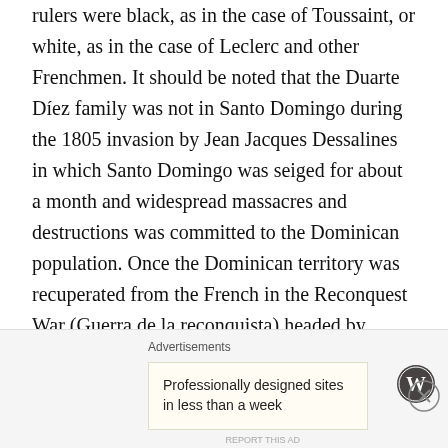rulers were black, as in the case of Toussaint, or white, as in the case of Leclerc and other Frenchmen. It should be noted that the Duarte Díez family was not in Santo Domingo during the 1805 invasion by Jean Jacques Dessalines in which Santo Domingo was seiged for about a month and widespread massacres and destructions was committed to the Dominican population. Once the Dominican territory was recuperated from the French in the Reconquest War (Guerra de la reconquista) headed by General Juan Sánchez Ramírez and the territory was returned to Spain (it wasn't until the Treaty of Paris of 1814 that Spain and France signed to recognize France returning to Spain ownership of Spanish Santo Domingo
[Figure (other): Advertisement banner with WordPress logo and text 'Professionally designed sites in less than a week']